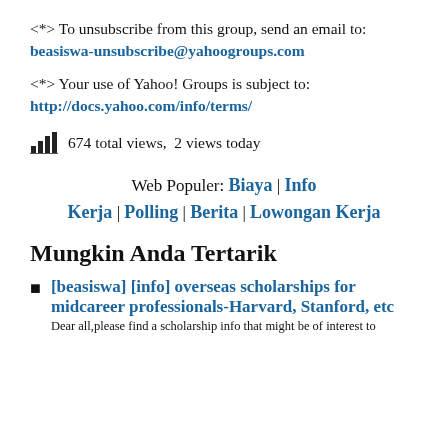<*> To unsubscribe from this group, send an email to: beasiswa-unsubscribe@yahoogroups.com
<*> Your use of Yahoo! Groups is subject to: http://docs.yahoo.com/info/terms/
674 total views,  2 views today
Web Populer: Biaya | Info Kerja | Polling | Berita | Lowongan Kerja
Mungkin Anda Tertarik
[beasiswa] [info] overseas scholarships for midcareer professionals-Harvard, Stanford, etc Dear all,please find a scholarship info that might be of interest to